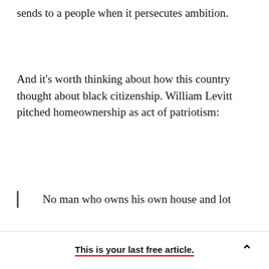sends to a people when it persecutes ambition.
And it's worth thinking about how this country thought about black citizenship. William Levitt pitched homeownership as act of patriotism:
No man who owns his own house and lot can be a Communist. He has too much to do.
This is your last free article.